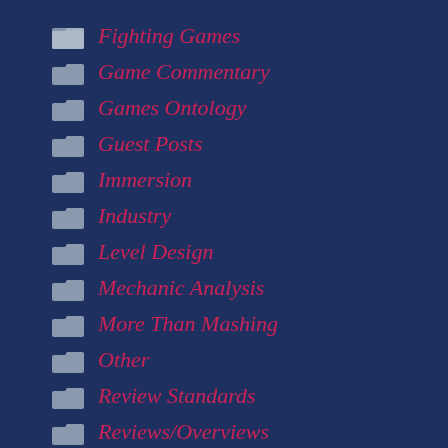Fighting Games
Game Commentary
Games Ontology
Guest Posts
Immersion
Industry
Level Design
Mechanic Analysis
More Than Mashing
Other
Review Standards
Reviews/Overviews
Smash
SoulsBorne